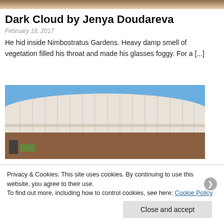[Figure (photo): Top strip of a photo, appears to be outdoor/nature scene in warm brown tones]
Dark Cloud by Jenya Doudareva
February 18, 2017
He hid inside Nimbostratus Gardens. Heavy damp smell of vegetation filled his throat and made his glasses foggy. For a [...]
[Figure (photo): A large circular/cylindrical building with a white/beige curved top and brown lower section, against a clear blue sky]
Privacy & Cookies: This site uses cookies. By continuing to use this website, you agree to their use.
To find out more, including how to control cookies, see here: Cookie Policy
Close and accept